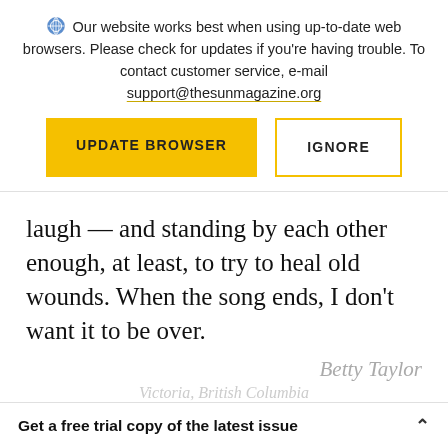Our website works best when using up-to-date web browsers. Please check for updates if you're having trouble. To contact customer service, e-mail support@thesunmagazine.org
[Figure (other): Two buttons: a yellow filled button labeled UPDATE BROWSER and an outlined yellow button labeled IGNORE]
laugh — and standing by each other enough, at least, to try to heal old wounds. When the song ends, I don't want it to be over.
Betty Taylor
Get a free trial copy of the latest issue